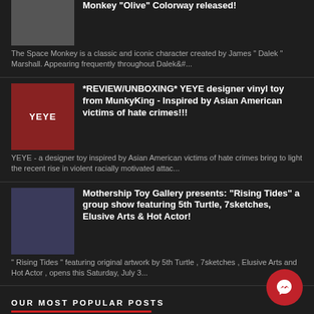[Figure (photo): Thumbnail image of Space Monkey Olive Colorway toy]
Monkey "Olive" Colorway released!
The Space Monkey is a classic and iconic character created by James " Dalek " Marshall. Appearing frequently throughout Dalek&#...
[Figure (photo): Thumbnail image of YEYE designer vinyl toy on red background]
*REVIEW/UNBOXING* YEYE designer vinyl toy from MunkyKing - Inspired by Asian American victims of hate crimes!!!
YEYE - a designer toy inspired by Asian American victims of hate crimes bring to light the recent rise in violent racially motivated attac...
[Figure (photo): Thumbnail image of colorful artwork for Rising Tides group show]
Mothership Toy Gallery presents: "Rising Tides" a group show featuring 5th Turtle, 7sketches, Elusive Arts & Hot Actor!
" Rising Tides " featuring original artwork by 5th Turtle , 7sketches , Elusive Arts and Hot Actor , opens this Saturday, July 3...
OUR MOST POPULAR POSTS
[Figure (photo): Thumbnail image of Bloody Brain Shots drinks]
Bloody Brain Shots...um okay :-)
This is so awesome!!! Thanks to Geekologie I found this cool recipe for all you kids...above 21 that is, to try at